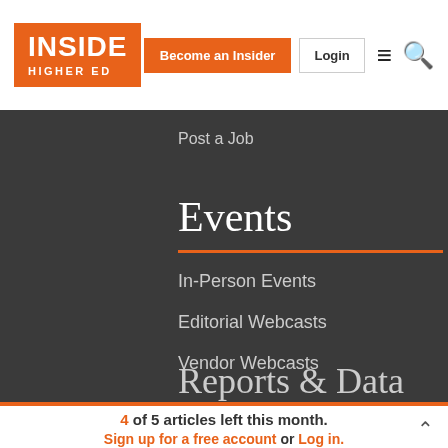[Figure (logo): Inside Higher Ed logo — orange box with white text INSIDE HIGHER ED]
Become an Insider
Login
Post a Job
Events
In-Person Events
Editorial Webcasts
Vendor Webcasts
Reports & Data
4 of 5 articles left this month.
Sign up for a free account or Log in.